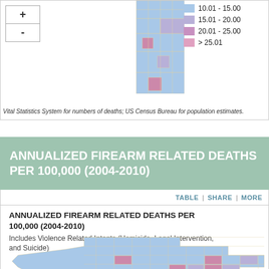[Figure (map): Partial choropleth map of Texas counties showing firearm-related deaths per 100,000, with color legend ranging from light blue (10.01-15.00) to dark pink (>25.01). Map controls (+ and -) visible at top left.]
10.01 - 15.00
15.01 - 20.00
20.01 - 25.00
> 25.01
Vital Statistics System for numbers of deaths; US Census Bureau for population estimates.
ANNUALIZED FIREARM RELATED DEATHS PER 100,000 (2004-2010)
TABLE | SHARE | MORE
ANNUALIZED FIREARM RELATED DEATHS PER 100,000 (2004-2010)
Includes Violence Related Intents (Homicide, Legal Intervention, and Suicide)
[Figure (map): Choropleth map of Texas counties showing annualized firearm related deaths per 100,000 (2004-2010). Counties are colored in shades from light blue to pink/magenta based on death rate ranges.]